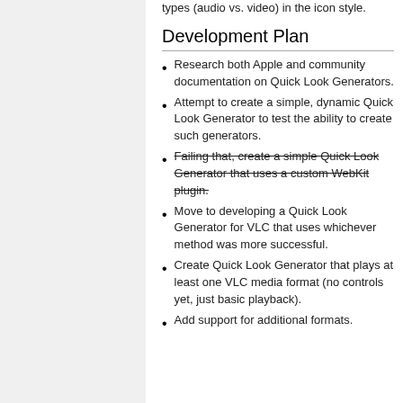types (audio vs. video) in the icon style.
Development Plan
Research both Apple and community documentation on Quick Look Generators.
Attempt to create a simple, dynamic Quick Look Generator to test the ability to create such generators.
Failing that, create a simple Quick Look Generator that uses a custom WebKit plugin.
Move to developing a Quick Look Generator for VLC that uses whichever method was more successful.
Create Quick Look Generator that plays at least one VLC media format (no controls yet, just basic playback).
Add support for additional formats.